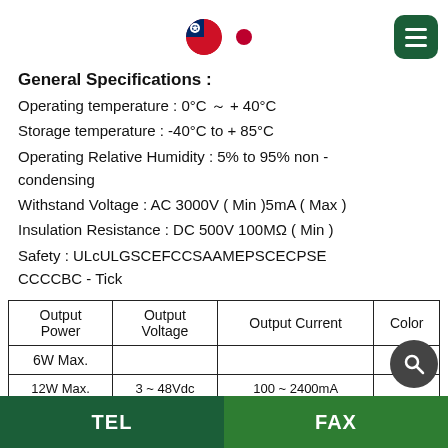[Figure (illustration): Taiwan and Japan flag icons and hamburger menu button in top bar]
General Specifications :
Operating temperature : 0°C ～ + 40°C​
Storage temperature : -40°C to + 85°C​
Operating Relative Humidity : 5% to 95% non - condensing​
Withstand Voltage : AC 3000V ( Min )​5mA ( Max )​
Insulation Resistance : DC 500V 100MΩ ( Min )​
Safety : UL​cUL​GS​CE​FCC​SAA​MEPS​CEC​PSE​CCC​CB​C - Tick​
| Output Power | Output Voltage | Output Current | Color |
| --- | --- | --- | --- |
| 6W Max. |  |  |  |
| 12W Max. | 3 ~ 48Vdc | 100 ~ 2400mA |  |
TEL   FAX